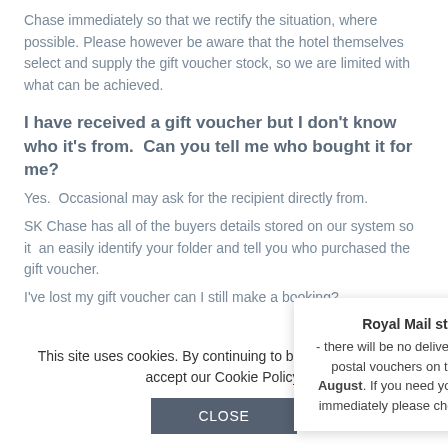Chase immediately so that we rectify the situation, where possible. Please however be aware that the hotel themselves select and supply the gift voucher stock, so we are limited with what can be achieved.
I have received a gift voucher but I don't know who it's from.  Can you tell me who bought it for me?
Yes.  Occasionally may ask for the recipient directly from.
SK Chase has all of the buyers details stored on our system so it can easily identify your folder and tell you who purchased the gift voucher.
I've lost my gift voucher, can I still make a booking?
[Figure (infographic): Royal Mail strike action popup: 'Royal Mail strike action - there will be no deliveries or collections of postal vouchers on the 26th and 31st August. If you need your gift voucher sent immediately please choose email delivery.' with a close (x) button.]
This site uses cookies. By continuing to browse the site, you accept our Cookie Policy.
CLOSE